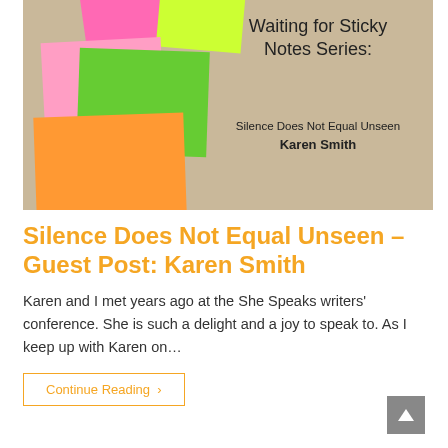[Figure (illustration): Book cover image showing colorful sticky notes (pink, yellow-green, hot pink, green, orange) on a wooden background with text: 'Waiting for Sticky Notes Series: Silence Does Not Equal Unseen — Karen Smith']
Silence Does Not Equal Unseen – Guest Post: Karen Smith
Karen and I met years ago at the She Speaks writers' conference. She is such a delight and a joy to speak to. As I keep up with Karen on…
Continue Reading ›